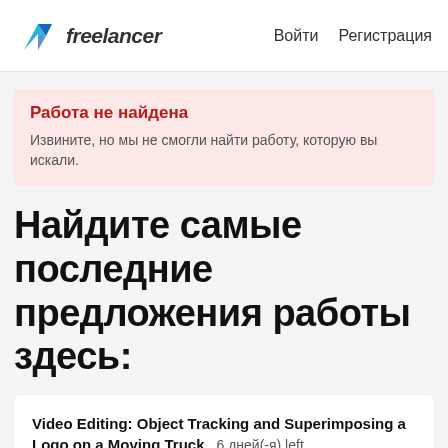freelancer  Войти  Регистрация
Работа не найдена
Извините, но мы не смогли найти работу, которую вы искали.
Найдите самые последние предложения работы здесь:
Video Editing: Object Tracking and Superimposing a Logo on a Moving Truck  6 дней(-я) left  ПОДТВЕРЖДЕН